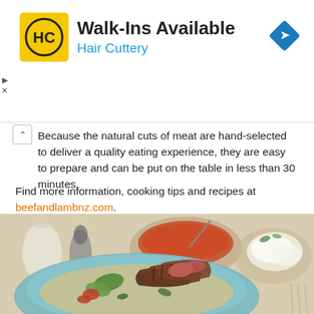[Figure (advertisement): Hair Cuttery advertisement banner with yellow HC logo, text 'Walk-Ins Available' and 'Hair Cuttery', and a blue navigation arrow diamond icon on the right.]
Because the natural cuts of meat are hand-selected to deliver a quality eating experience, they are easy to prepare and can be put on the table in less than 30 minutes.
Find more information, cooking tips and recipes at beefandlambnz.com.
[Figure (photo): Food photography showing a blue ceramic bowl with grilled sliced lamb or beef meat served on a bed of tabbouleh or herbed couscous with green vegetables. In the background, a bowl of tomato sauce and a plate of cheese can be seen. Table setting includes salt and pepper shakers.]